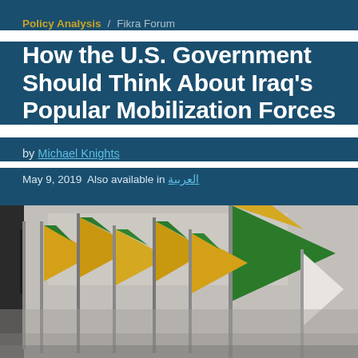Policy Analysis / Fikra Forum
How the U.S. Government Should Think About Iraq's Popular Mobilization Forces
by Michael Knights
May 9, 2019  Also available in العربية
[Figure (photo): Photograph of multiple yellow and green flags being waved outdoors, associated with Iraqi Popular Mobilization Forces (PMF/Hashd al-Shaabi), with a grey wall visible in the background.]